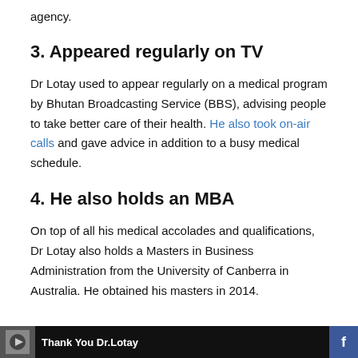agency.
3. Appeared regularly on TV
Dr Lotay used to appear regularly on a medical program by Bhutan Broadcasting Service (BBS), advising people to take better care of their health. He also took on-air calls and gave advice in addition to a busy medical schedule.
4. He also holds an MBA
On top of all his medical accolades and qualifications, Dr Lotay also holds a Masters in Business Administration from the University of Canberra in Australia. He obtained his masters in 2014.
[Figure (screenshot): Video thumbnail bar with text 'Thank You Dr.Lotay' on dark background with Facebook icon on right]